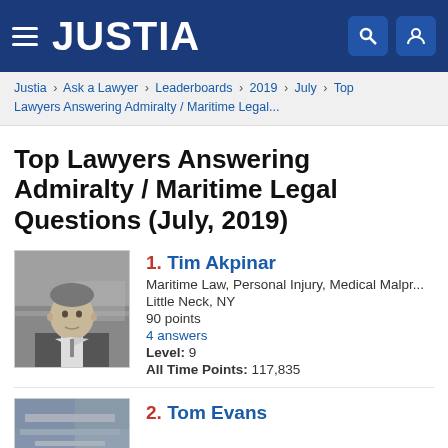JUSTIA
Justia › Ask a Lawyer › Leaderboards › 2019 › July › Top Lawyers Answering Admiralty / Maritime Legal...
Top Lawyers Answering Admiralty / Maritime Legal Questions (July, 2019)
1. Tim Akpinar
Maritime Law, Personal Injury, Medical Malpr...
Little Neck, NY
90 points
4 answers
Level: 9
All Time Points: 117,835
2. Tom Evans